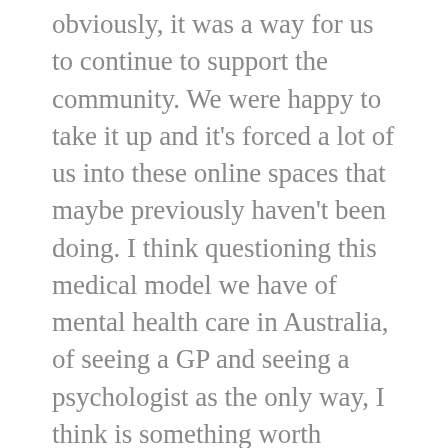obviously, it was a way for us to continue to support the community. We were happy to take it up and it's forced a lot of us into these online spaces that maybe previously haven't been doing. I think questioning this medical model we have of mental health care in Australia, of seeing a GP and seeing a psychologist as the only way, I think is something worth challenging at times like this. Thinking about what else is on that smorgasbord of support that you can reach out for right now but I'd add a certain thing that we also need to improve and change that broken mental health care model which comes from having more psychologists and also making psychology free for all Australians.